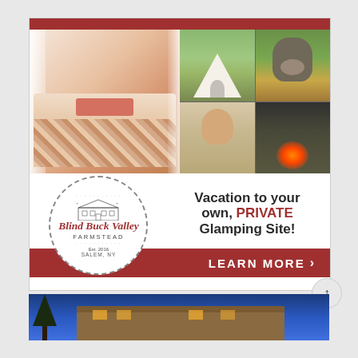[Figure (photo): Advertisement for Blind Buck Valley Farmstead glamping site. Top half shows a collage of photos: a styled tent interior with patterned blanket and orange pillows (left), a white bell tent outdoors (top-right), a donkey closeup (top-right corner), a child blowing on a marshmallow (bottom-right left), and a person tending a campfire (bottom-right corner). Bottom half shows the circular Blind Buck Valley Farmstead logo on the left and tagline 'Vacation to your own, PRIVATE Glamping Site!' on the right, with a red bar at bottom reading 'LEARN MORE >'.]
[Figure (photo): Partial view of a building exterior at dusk/night with blue sky, wooden siding, and warm lighting visible at the bottom of the page.]